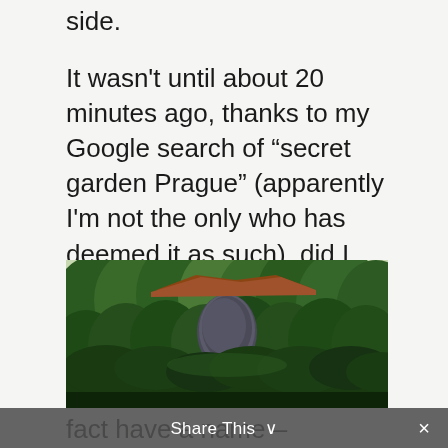side.
It wasn't until about 20 minutes ago, thanks to my Google search of “secret garden Prague” (apparently I'm not the only who has deemed it as such), did I find out this truly magical place with its hedge mazes, peculiar art, and white peacocks actually does in fact have a name – Wallenstein Palace Gardens.
[Figure (photo): Outdoor photograph of lush green trees and garden hedges with a building roof visible in the background, appearing to be the Wallenstein Palace Gardens in Prague.]
Share This ⌄  ×